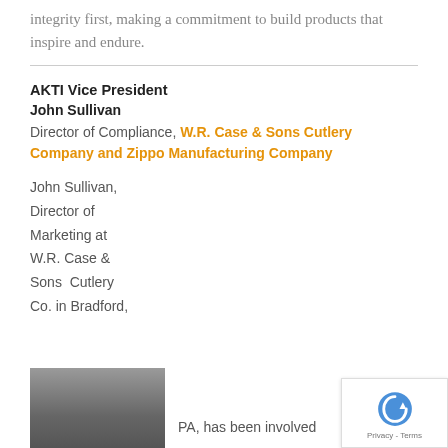integrity first, making a commitment to build products that inspire and endure.
AKTI Vice President
John Sullivan
Director of Compliance, W.R. Case & Sons Cutlery Company and Zippo Manufacturing Company
John Sullivan,
Director of
Marketing at
W.R. Case &
Sons Cutlery
Co. in Bradford,
[Figure (photo): Headshot photo of John Sullivan]
PA, has been involved